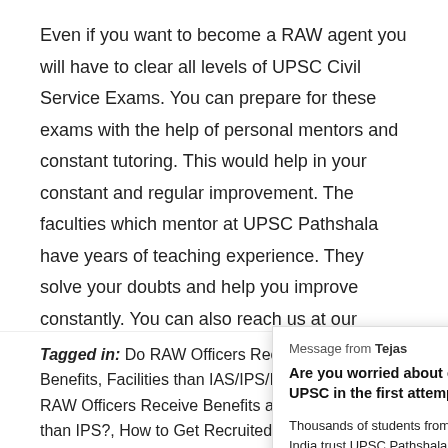Even if you want to become a RAW agent you will have to clear all levels of UPSC Civil Service Exams. You can prepare for these exams with the help of personal mentors and constant tutoring. This would help in your constant and regular improvement. The faculties which mentor at UPSC Pathshala have years of teaching experience. They solve your doubts and help you improve constantly. You can also reach us at our website.
[Figure (other): DMCA Protected badge with green DMCA label and grey PROTECTED label]
Message from Tejas
Are you worried about clearing UPSC in the first attempt?
Thousands of students from all over India trust UPSC Pathshala for IAS Preparation. Now, it's your chance to clear UPSC!
Tagged in: Do RAW Officers Receive more Benefits, Facilities than IAS/IPS/IFS?, Do RAW Officers Receive Benefits and Facilities than IPS?, How to Get Recruited in